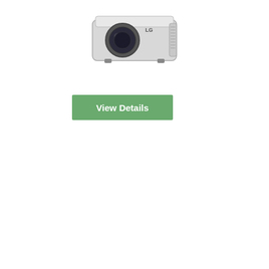[Figure (photo): LG projector product photo, front/top view, silver and gray body]
View Details
[Figure (logo): WhatsApp logo - green circle with white phone handset icon]
LG HF85JG DLP Projector
[Figure (photo): LG HF85JG DLP Projector product photo, white compact ultra-short throw projector with gray bottom panel]